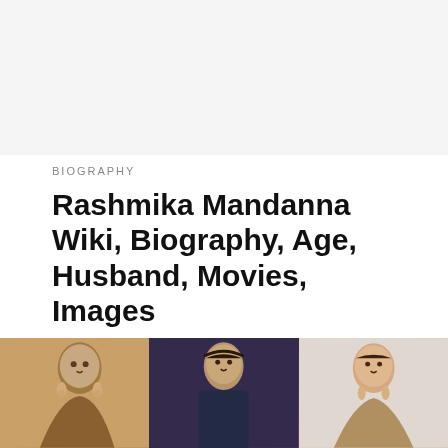BIOGRAPHY
Rashmika Mandanna Wiki, Biography, Age, Husband, Movies, Images
Rashmika Mandanna is an Indian Model and Film Actress who works in Kannada film industry. In 2016, She made her…
5 months ago
[Figure (photo): Three celebrity photos shown as a strip at the bottom: left shows a woman with jewelry (warm golden tones), center shows a man in dark/blue-purple setting, right shows a woman against a light background.]